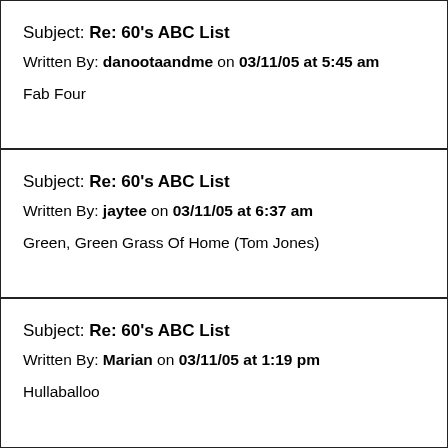Subject: Re: 60's ABC List
Written By: danootaandme on 03/11/05 at 5:45 am
Fab Four
Subject: Re: 60's ABC List
Written By: jaytee on 03/11/05 at 6:37 am
Green, Green Grass Of Home (Tom Jones)
Subject: Re: 60's ABC List
Written By: Marian on 03/11/05 at 1:19 pm
Hullaballoo